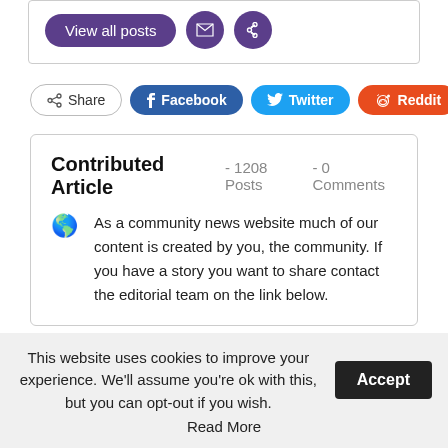[Figure (screenshot): Top section showing 'View all posts' purple button and two circular purple icon buttons (email and link)]
[Figure (infographic): Social sharing buttons row: Share, Facebook, Twitter, Reddit, and a plus button]
Contributed Article - 1208 Posts - 0 Comments
As a community news website much of our content is created by you, the community. If you have a story you want to share contact the editorial team on the link below.
This website uses cookies to improve your experience. We'll assume you're ok with this, but you can opt-out if you wish. Accept Read More